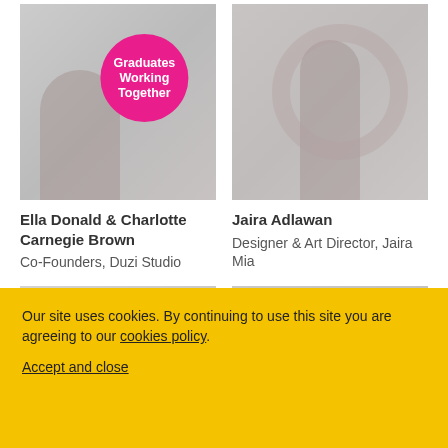[Figure (photo): Photo of Ella Donald and Charlotte Carnegie Brown with a pink circular badge saying 'Graduates Working Together']
Ella Donald & Charlotte Carnegie Brown
Co-Founders, Duzi Studio
[Figure (photo): Photo of Jaira Adlawan]
Jaira Adlawan
Designer & Art Director, Jaira Mia
[Figure (photo): Partially visible photo at bottom left]
[Figure (photo): Partially visible photo at bottom right]
Our site uses cookies. By continuing to use this site you are agreeing to our cookies policy.
Accept and close